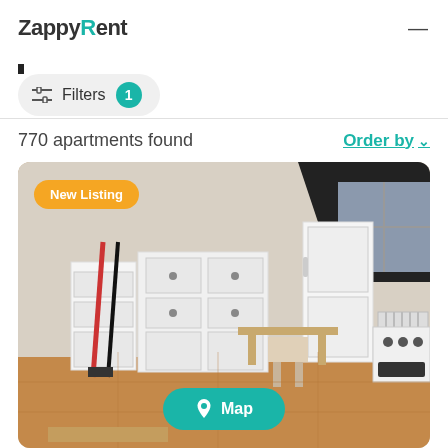ZappyRent
[Figure (screenshot): Filter icon bullet/search bar indicator]
Filters 1
770 apartments found
Order by
[Figure (photo): Photo of a furnished apartment kitchen with white cabinets, refrigerator, wooden table and chair, and a stove. A 'New Listing' badge appears in top-left corner. A teal 'Map' button overlays the bottom center of the image.]